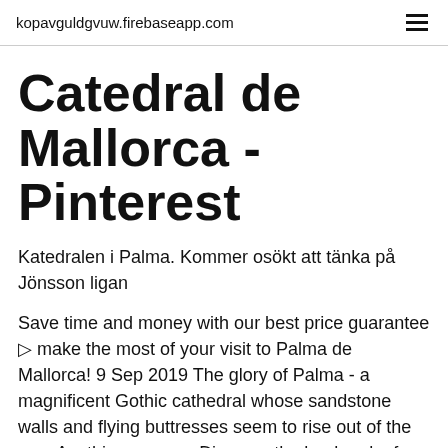kopavguldgvuw.firebaseapp.com
Catedral de Mallorca - Pinterest
Katedralen i Palma. Kommer osökt att tänka på Jönsson ligan
Save time and money with our best price guarantee ▷ make the most of your visit to Palma de Mallorca! 9 Sep 2019 The glory of Palma - a magnificent Gothic cathedral whose sandstone walls and flying buttresses seem to rise out of the sea. Anything you see  Discover the landmark of Palma and safe 8€